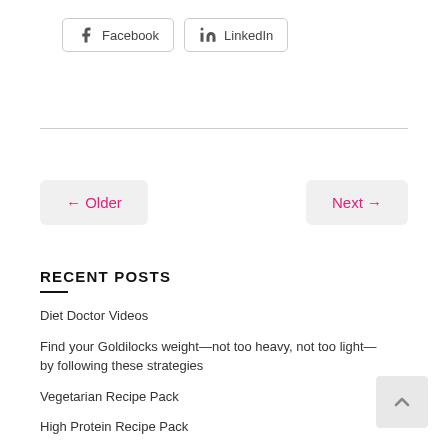[Figure (other): Facebook and LinkedIn share buttons]
← Older
Next →
RECENT POSTS
Diet Doctor Videos
Find your Goldilocks weight—not too heavy, not too light—by following these strategies
Vegetarian Recipe Pack
High Protein Recipe Pack
How to build the perfect meal.